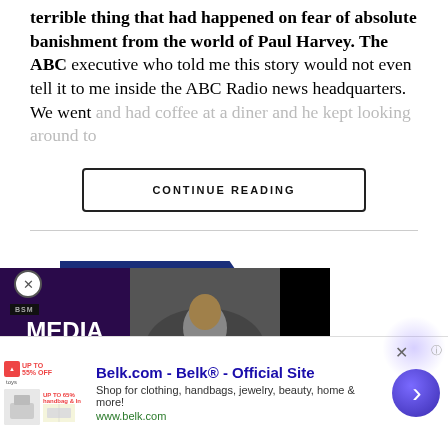terrible thing that had happened on fear of absolute banishment from the world of Paul Harvey. The ABC executive who told me this story would not even tell it to me inside the ABC Radio news headquarters. We went and had coffee at a diner and he kept looking around to
CONTINUE READING
NEWS PRINT & DIGITAL
Launching Show on
[Figure (screenshot): BSM Media Noise podcast logo overlay with photo of man in suit (Stephen A. Smith) and Nielsen logo card]
it is launching a news channel
eaming platform starting on Aug
[Figure (screenshot): Belk.com advertisement banner with thumbnails, title 'Belk.com - Belk® - Official Site', description 'Shop for clothing, handbags, jewelry, beauty, home & more!', URL www.belk.com, and navigation arrow button]